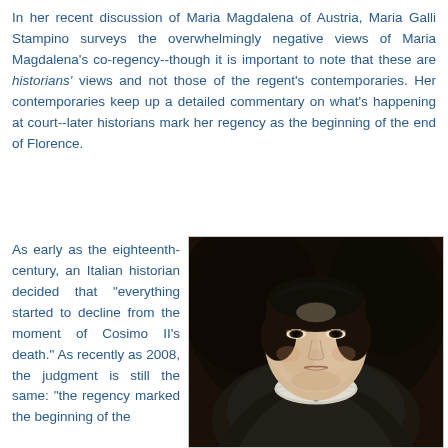In her recent discussion of Maria Magdalena of Austria, Maria Galli Stampino surveys the overwhelmingly negative views of Maria Magdalena's co-regency--though it is important to note that these are historians' views and not those of the regent's contemporaries. Her contemporaries keep up a detailed commentary on what's happening at court--later historians mark her regency as the beginning of the end of Florence.
As early as the eighteenth-century, an Italian historian decided that "everything started to decline from the moment of Cosimo II's death." As recently as 2008, the judgment is still the same: "the regency marked the beginning of the
[Figure (photo): Portrait painting of Maria Magdalena of Austria, a woman wearing a dark dress with a lace ruff collar, dark hair parted in the middle, painted in a dark background, Baroque style portrait.]